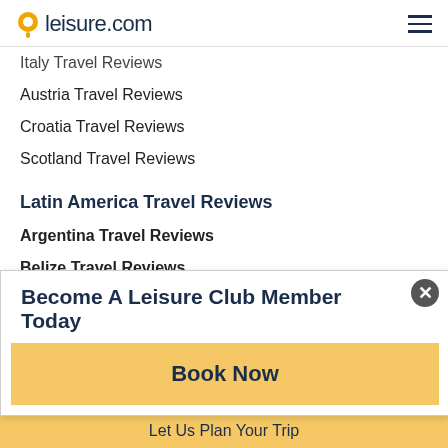leisure.com
Italy Travel Reviews
Austria Travel Reviews
Croatia Travel Reviews
Scotland Travel Reviews
Latin America Travel Reviews
Argentina Travel Reviews
Belize Travel Reviews
Brazil Travel Reviews
Chile Travel Reviews
Colombia Travel Reviews
Cuba Travel Reviews
Costa Rica Travel Reviews
Los Cabos Travel Reviews
Peru Travel Reviews
Become A Leisure Club Member Today
Book Now
Let Us Plan Your Trip